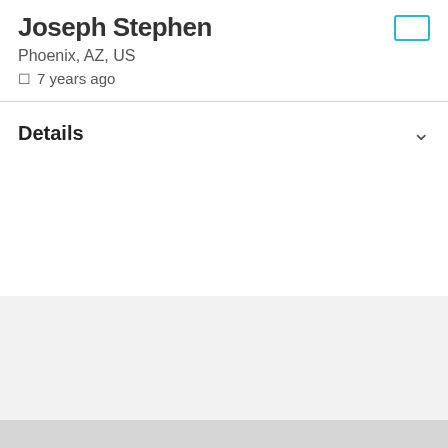Joseph Stephen
Phoenix, AZ, US
7 years ago
Details